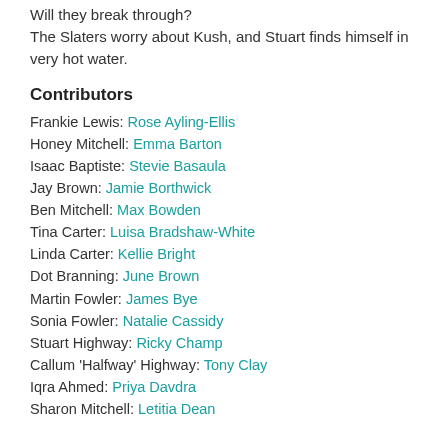Will they break through? The Slaters worry about Kush, and Stuart finds himself in very hot water.
Contributors
Frankie Lewis: Rose Ayling-Ellis
Honey Mitchell: Emma Barton
Isaac Baptiste: Stevie Basaula
Jay Brown: Jamie Borthwick
Ben Mitchell: Max Bowden
Tina Carter: Luisa Bradshaw-White
Linda Carter: Kellie Bright
Dot Branning: June Brown
Martin Fowler: James Bye
Sonia Fowler: Natalie Cassidy
Stuart Highway: Ricky Champ
Callum 'Halfway' Highway: Tony Clay
Iqra Ahmed: Priya Davdra
Sharon Mitchell: Letitia Dean